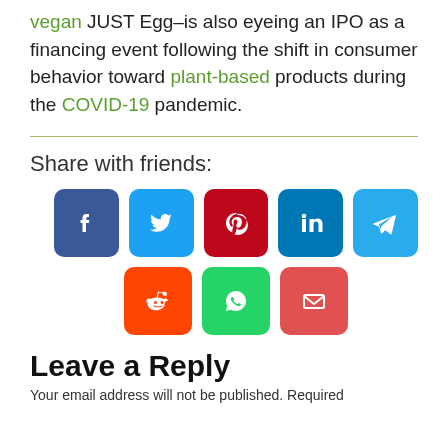vegan JUST Egg–is also eyeing an IPO as a financing event following the shift in consumer behavior toward plant-based products during the COVID-19 pandemic.
[Figure (infographic): Share with friends social media buttons: Facebook, Twitter, Pinterest, LinkedIn, Telegram, Reddit, WhatsApp, Email]
Leave a Reply
Your email address will not be published. Required